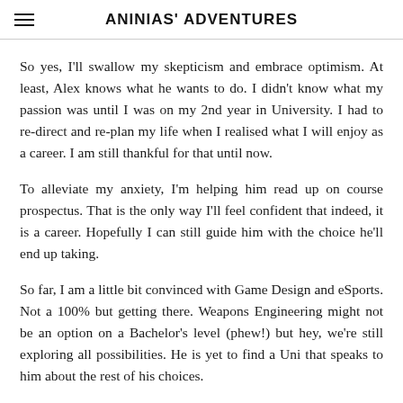ANINIAS' ADVENTURES
So yes, I'll swallow my skepticism and embrace optimism. At least, Alex knows what he wants to do. I didn't know what my passion was until I was on my 2nd year in University. I had to re-direct and re-plan my life when I realised what I will enjoy as a career. I am still thankful for that until now.
To alleviate my anxiety, I'm helping him read up on course prospectus. That is the only way I'll feel confident that indeed, it is a career. Hopefully I can still guide him with the choice he'll end up taking.
So far, I am a little bit convinced with Game Design and eSports. Not a 100% but getting there. Weapons Engineering might not be an option on a Bachelor's level (phew!) but hey, we're still exploring all possibilities. He is yet to find a Uni that speaks to him about the rest of his choices.